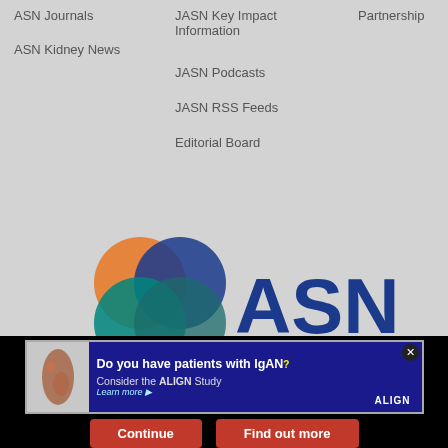ASN Journals
ASN Kidney News
JASN Key Impact Information
JASN Podcasts
JASN RSS Feeds
Editorial Board
Partnership
[Figure (logo): ASN (American Society of Nephrology) logo with overlapping colored circles (orange, blue, green) and bold blue text 'ASN' with 'American Society of Nephrology' below]
© 2022 American Society of Nephrology
We use cookies on this site to enhance your user experience. By clicking any link on this page you are giving your consent for us to set cooki...
[Figure (advertisement): Ad banner: 'Do you have patients with IgAN? Consider the ALIGN Study. Learn more.' with kidney illustration and ALIGN logo]